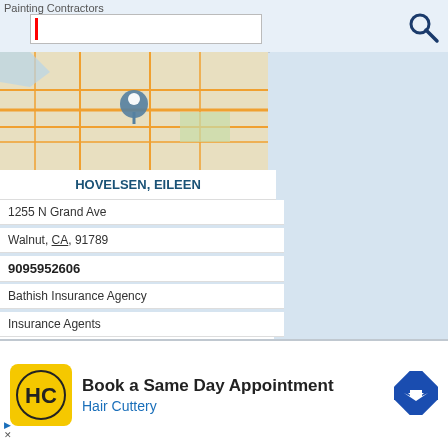Painting Contractors
[Figure (screenshot): Search bar with red cursor and magnifying glass icon]
[Figure (map): Street map with blue location pin for Hovelsen, Eileen at 1255 N Grand Ave, Walnut CA]
HOVELSEN, EILEEN
1255 N Grand Ave
Walnut, CA, 91789
9095952606
Bathish Insurance Agency
Insurance Agents
[Figure (map): Street map with blue location pin for Howze Partnership]
HOWZE PARTNERSHIP
[Figure (screenshot): Advertisement banner for Hair Cuttery - Book a Same Day Appointment]